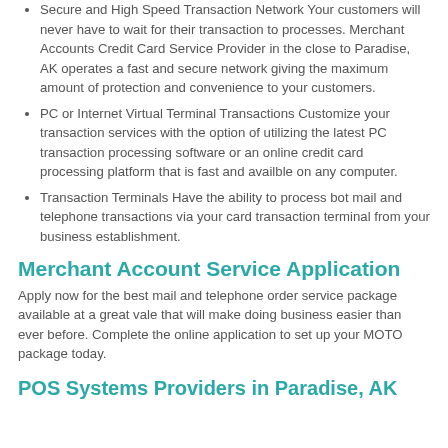Secure and High Speed Transaction Network Your customers will never have to wait for their transaction to processes. Merchant Accounts Credit Card Service Provider in the close to Paradise, AK operates a fast and secure network giving the maximum amount of protection and convenience to your customers.
PC or Internet Virtual Terminal Transactions Customize your transaction services with the option of utilizing the latest PC transaction processing software or an online credit card processing platform that is fast and availble on any computer.
Transaction Terminals Have the ability to process bot mail and telephone transactions via your card transaction terminal from your business establishment.
Merchant Account Service Application
Apply now for the best mail and telephone order service package available at a great vale that will make doing business easier than ever before. Complete the online application to set up your MOTO package today.
POS Systems Providers in Paradise, AK